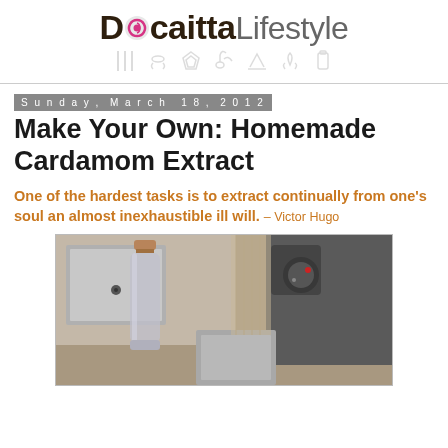DocaittaLifestyle
Sunday, March 18, 2012
Make Your Own: Homemade Cardamom Extract
One of the hardest tasks is to extract continually from one's soul an almost inexhaustible ill will. – Victor Hugo
[Figure (photo): A small glass bottle with a cork stopper sitting on a kitchen counter near a sink and appliances]